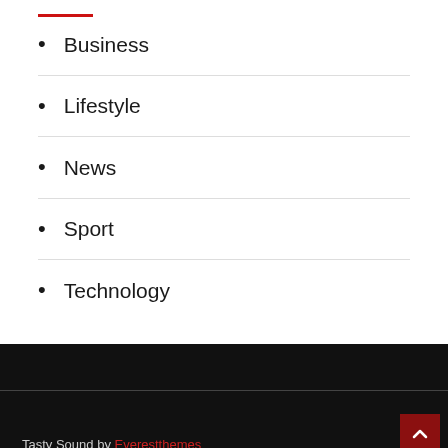Business
Lifestyle
News
Sport
Technology
Tasty Sound by Everestthemes